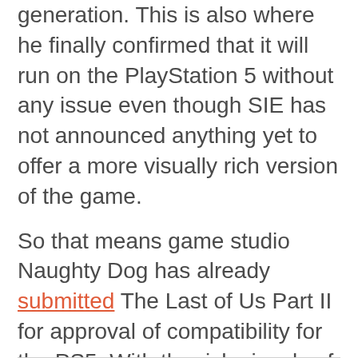generation. This is also where he finally confirmed that it will run on the PlayStation 5 without any issue even though SIE has not announced anything yet to offer a more visually rich version of the game.
So that means game studio Naughty Dog has already submitted The Last of Us Part II for approval of compatibility for the PS5. With the rich visuals of the game on the PS4 alone, what more could be improved with its PS5 version? We will see soon on June 5's PS5 reveal event.
Interview source: CNet